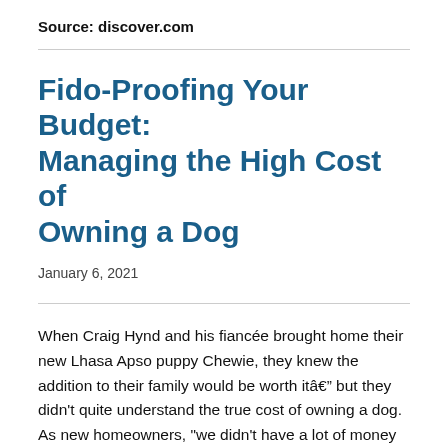Source: discover.com
Fido-Proofing Your Budget: Managing the High Cost of Owning a Dog
January 6, 2021
When Craig Hynd and his fiancée brought home their new Lhasa Apso puppy Chewie, they knew the addition to their family would be worth itâbut they didn’t quite understand the true cost of owning a dog. As new homeowners, “we didn’t have a lot of money to spare on a month-to-month basis,” Hynd says, “but we